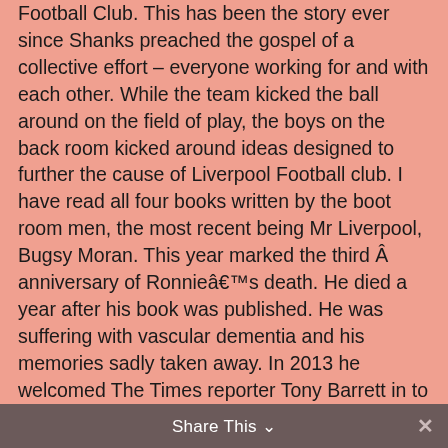Football Club. This has been the story ever since Shanks preached the gospel of a collective effort – everyone working for and with each other. While the team kicked the ball around on the field of play, the boys on the back room kicked around ideas designed to further the cause of Liverpool Football club. I have read all four books written by the boot room men, the most recent being Mr Liverpool, Bugsy Moran. This year marked the third Â anniversary of Ronnieâ€™s death. He died a year after his book was published. He was suffering with vascular dementia and his memories sadly taken away. In 2013 he welcomed The Times reporter Tony Barrett in to his â€œTrophy Roomâ€ in his retirement bungalow on the outskirts of Liverpool. â€˜Ronnie picked up a framed photograph and trailing his finger along the picture from right to left, he named his former comrades in arms one by oneâ€™, Tony reported.
Share This ∨  ✕